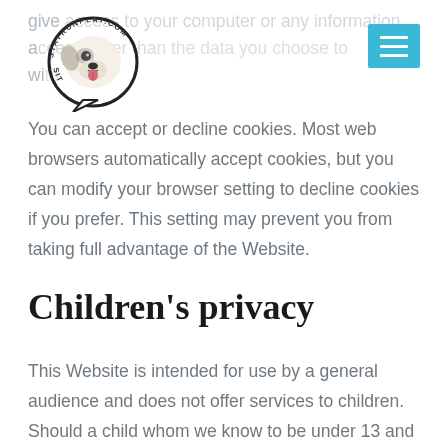give access to your computer or any information access other than the data you choose to with
[Figure (logo): SitStayRunPlay.com logo — dog in a speech bubble with circular text]
You can accept or decline cookies. Most web browsers automatically accept cookies, but you can modify your browser setting to decline cookies if you prefer. This setting may prevent you from taking full advantage of the Website.
Children's privacy
This Website is intended for use by a general audience and does not offer services to children. Should a child whom we know to be under 13 and